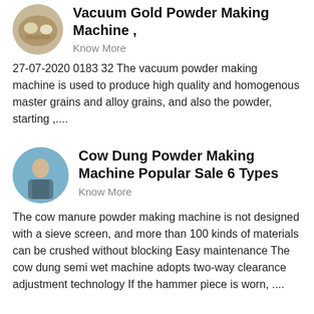[Figure (photo): Circular thumbnail photo showing food items on a plate, top-left of first article]
Vacuum Gold Powder Making Machine ,
Know More
27-07-2020 0183 32 The vacuum powder making machine is used to produce high quality and homogenous master grains and alloy grains, and also the powder, starting ,....
[Figure (photo): Circular thumbnail photo showing a person, for the Cow Dung Powder Making Machine article]
Cow Dung Powder Making Machine Popular Sale 6 Types
Know More
The cow manure powder making machine is not designed with a sieve screen, and more than 100 kinds of materials can be crushed without blocking Easy maintenance The cow dung semi wet machine adopts two-way clearance adjustment technology If the hammer piece is worn, ....